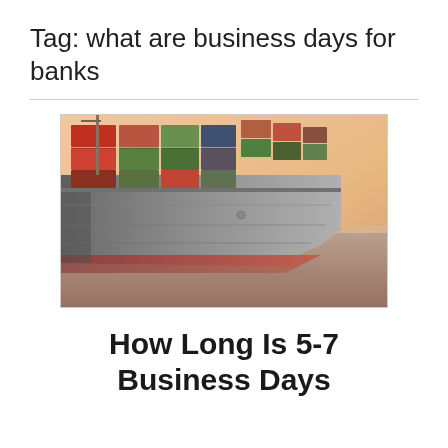Tag: what are business days for banks
[Figure (photo): A large cargo/container ship with colorful stacked shipping containers on its deck, photographed from the side at water level against a warm sunset sky.]
How Long Is 5-7 Business Days